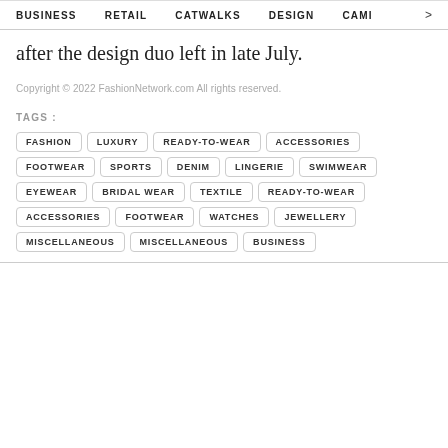BUSINESS   RETAIL   CATWALKS   DESIGN   CAMI >
after the design duo left in late July.
Copyright © 2022 FashionNetwork.com All rights reserved.
TAGS: FASHION LUXURY READY-TO-WEAR ACCESSORIES FOOTWEAR SPORTS DENIM LINGERIE SWIMWEAR EYEWEAR BRIDAL WEAR TEXTILE READY-TO-WEAR ACCESSORIES FOOTWEAR WATCHES JEWELLERY MISCELLANEOUS MISCELLANEOUS BUSINESS